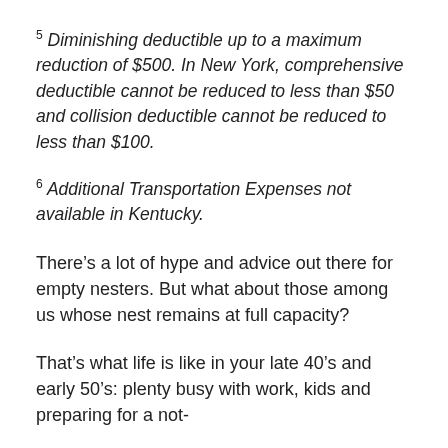5 Diminishing deductible up to a maximum reduction of $500. In New York, comprehensive deductible cannot be reduced to less than $50 and collision deductible cannot be reduced to less than $100.
6 Additional Transportation Expenses not available in Kentucky.
There’s a lot of hype and advice out there for empty nesters. But what about those among us whose nest remains at full capacity?
That’s what life is like in your late 40’s and early 50’s: plenty busy with work, kids and preparing for a not-